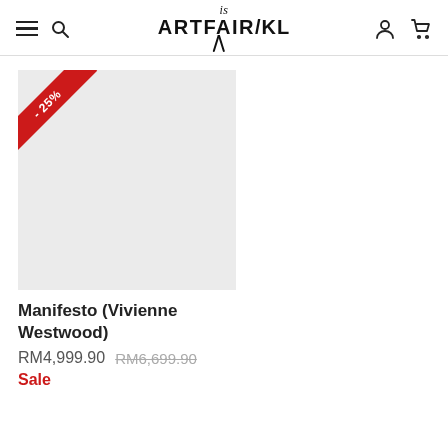is ARTFAIR/KL
[Figure (photo): Product image placeholder — light grey square with a red diagonal discount ribbon badge in the top-left corner reading '-25%']
Manifesto (Vivienne Westwood)
RM4,999.90  RM6,699.90
Sale